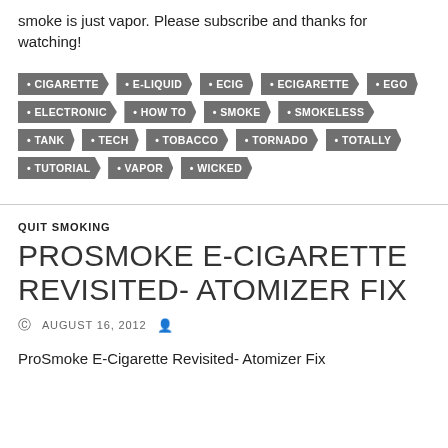smoke is just vapor. Please subscribe and thanks for watching!
CIGARETTE • E-LIQUID • ECIG • ECIGARETTE • EGO • ELECTRONIC • HOW TO • SMOKE • SMOKELESS • TANK • TECH • TOBACCO • TORNADO • TOTALLY • TUTORIAL • VAPOR • WICKED
QUIT SMOKING
PROSMOKE E-CIGARETTE REVISITED- ATOMIZER FIX
AUGUST 16, 2012
ProSmoke E-Cigarette Revisited- Atomizer Fix